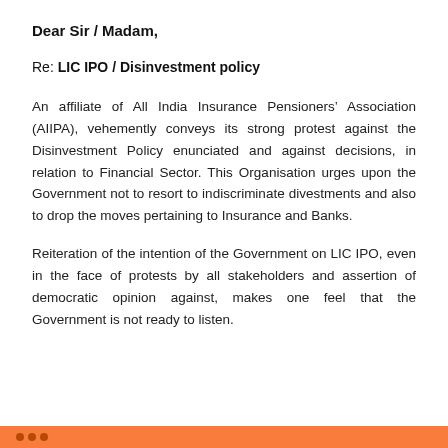Dear Sir / Madam,
Re: LIC IPO / Disinvestment policy
An affiliate of All India Insurance Pensioners' Association (AIIPA), vehemently conveys its strong protest against the Disinvestment Policy enunciated and against decisions, in relation to Financial Sector. This Organisation urges upon the Government not to resort to indiscriminate divestments and also to drop the moves pertaining to Insurance and Banks.
Reiteration of the intention of the Government on LIC IPO, even in the face of protests by all stakeholders and assertion of democratic opinion against, makes one feel that the Government is not ready to listen.